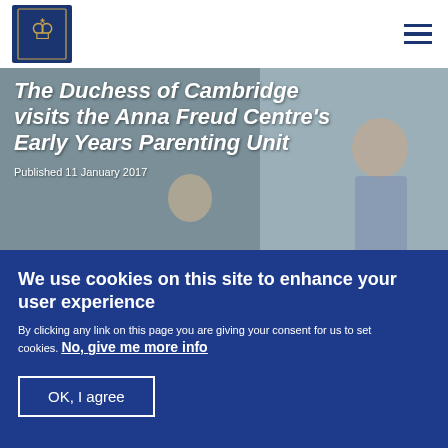Royal.uk header with logo and navigation menu
[Figure (photo): Photo of the Duchess of Cambridge visiting the Anna Freud Centre's Early Years Parenting Unit, showing children playing with toys]
The Duchess of Cambridge visits the Anna Freud Centre's Early Years Parenting Unit
Published 11 January 2017
We use cookies on this site to enhance your user experience
By clicking any link on this page you are giving your consent for us to set cookies. No, give me more info
OK, I agree